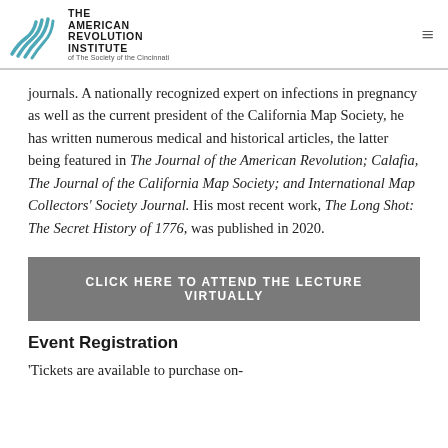The American Revolution Institute of The Society of the Cincinnati
journals. A nationally recognized expert on infections in pregnancy as well as the current president of the California Map Society, he has written numerous medical and historical articles, the latter being featured in The Journal of the American Revolution; Calafia, The Journal of the California Map Society; and International Map Collectors' Society Journal. His most recent work, The Long Shot: The Secret History of 1776, was published in 2020.
CLICK HERE TO ATTEND THE LECTURE VIRTUALLY
Event Registration
Tickets are available to purchase on-